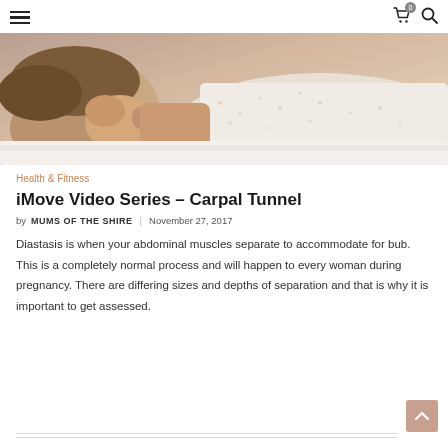[Figure (photo): Close-up photo of a person lying down, head resting on a surface, wearing a white lace garment.]
Health & Fitness
iMove Video Series – Carpal Tunnel
by MUMS OF THE SHIRE | November 27, 2017
Diastasis is when your abdominal muscles separate to accommodate for bub. This is a completely normal process and will happen to every woman during pregnancy. There are differing sizes and depths of separation and that is why it is important to get assessed.